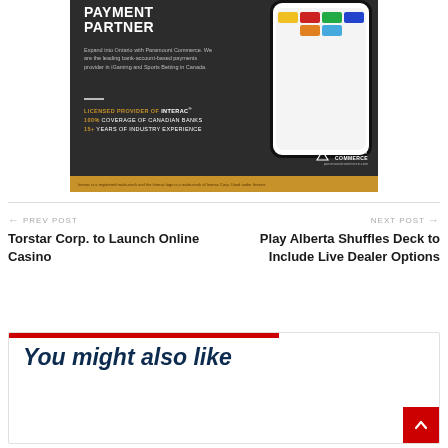[Figure (infographic): Paramount Commerce advertisement banner with dark background, showing payment partner branding, a smartphone with payment logos, Interac licensing info, and gold footer bar with disclaimer text.]
← PREV POST
Torstar Corp. to Launch Online Casino
NEXT POST →
Play Alberta Shuffles Deck to Include Live Dealer Options
You might also like